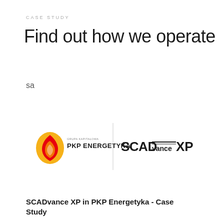CASE STUDY
Find out how we operate
sa
[Figure (logo): PKP Energetyka logo (flame icon with yellow and red, text 'GRUPA KAPITALOWA PKP ENERGETYKA') and SCADvanceXP logo side by side separated by a vertical divider line]
SCADvance XP in PKP Energetyka - Case Study